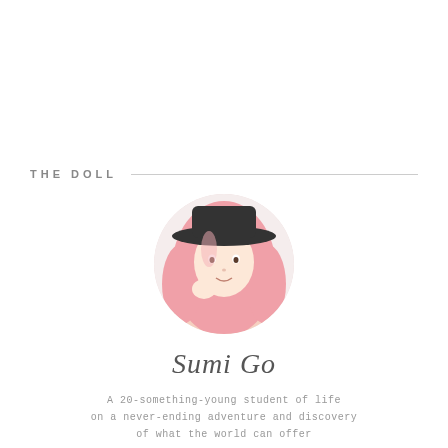THE DOLL
[Figure (photo): Circular profile photo of a young woman with long pink hair wearing a black hat, hands clasped near face]
Sumi Go
A 20-something-young student of life on a never-ending adventure and discovery of what the world can offer